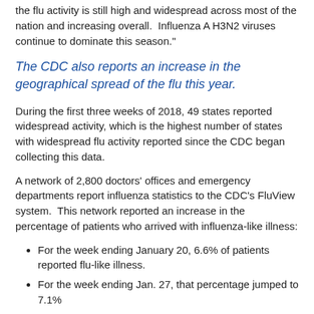the flu activity is still high and widespread across most of the nation and increasing overall.  Influenza A H3N2 viruses continue to dominate this season."
The CDC also reports an increase in the geographical spread of the flu this year.
During the first three weeks of 2018, 49 states reported widespread activity, which is the highest number of states with widespread flu activity reported since the CDC began collecting this data.
A network of 2,800 doctors' offices and emergency departments report influenza statistics to the CDC's FluView system.  This network reported an increase in the percentage of patients who arrived with influenza-like illness:
For the week ending January 20, 6.6% of patients reported flu-like illness.
For the week ending Jan. 27, that percentage jumped to 7.1%
According to the CDC, only two previous seasons over the last 15